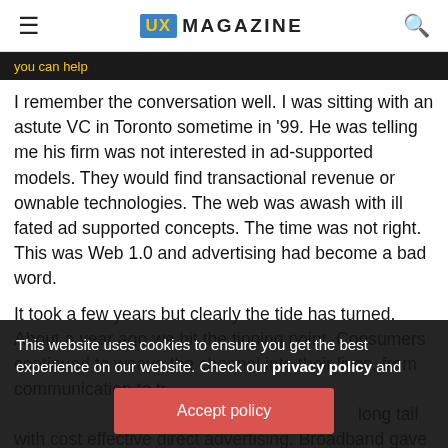UX MAGAZINE
you can help
I remember the conversation well. I was sitting with an astute VC in Toronto sometime in '99. He was telling me his firm was not interested in ad-supported models. They would find transactional revenue or ownable technologies. The web was awash with ill fated ad supported concepts. The time was not right. This was Web 1.0 and advertising had become a bad word.
It took a few years but clearly the tide has turned. About a year ago we hit the tipping point. Consumers continued to weave the channel into their lives, from communication to tr... long tail with cost effective direct advertising. Broadband gave us rich, brand building opportunities. Innovation kicked in, capital followed. They called it Web 2.0. And the
This website uses cookies to ensure you get the best experience on our website. Check our privacy policy and
Accept policy